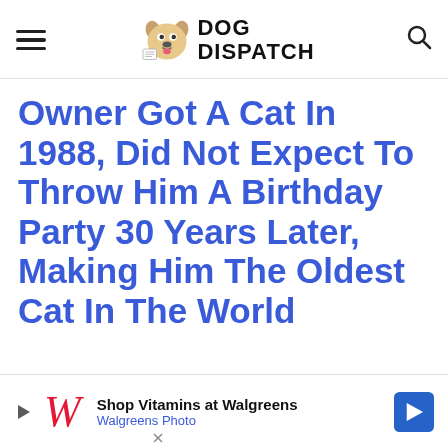DOG DISPATCH
Owner Got A Cat In 1988, Did Not Expect To Throw Him A Birthday Party 30 Years Later, Making Him The Oldest Cat In The World
[Figure (infographic): Advertisement banner for Walgreens: 'Shop Vitamins at Walgreens' with Walgreens Photo subtext, Walgreens red W logo, and blue arrow direction sign]